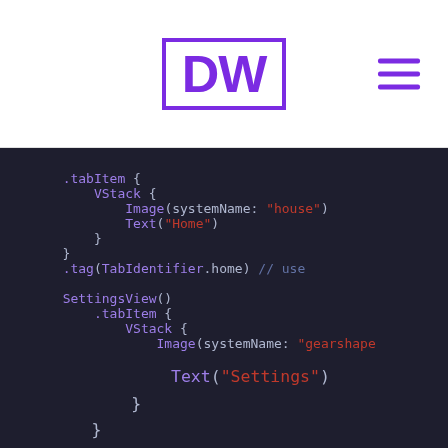DW [logo with hamburger menu]
[Figure (screenshot): Swift/SwiftUI code snippet showing TabView tab items for HomeView and SettingsView, with .tabItem, VStack, Image(systemName:), Text(), .tag(TabIdentifier), SettingsView(), and .onOpenURL modifiers on a dark background.]